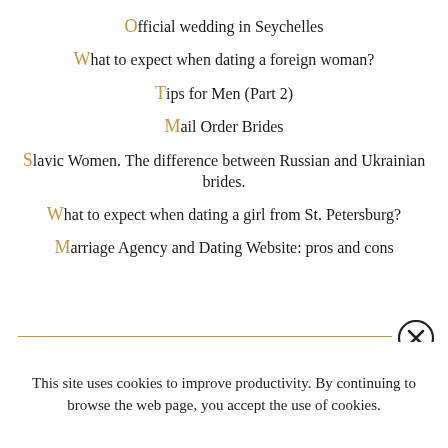Official wedding in Seychelles
What to expect when dating a foreign woman?
Tips for Men (Part 2)
Mail Order Brides
Slavic Women. The difference between Russian and Ukrainian brides.
What to expect when dating a girl from St. Petersburg?
Marriage Agency and Dating Website: pros and cons
This site uses cookies to improve productivity. By continuing to browse the web page, you accept the use of cookies.